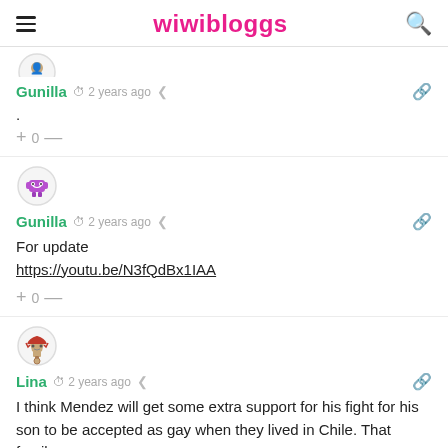wiwibloggs
[Figure (screenshot): Partial avatar image of a user (Gunilla), cropped at top]
Gunilla  2 years ago
.
+ 0 —
[Figure (illustration): Avatar image for Gunilla - purple creature/monster icon]
Gunilla  2 years ago
For update
https://youtu.be/N3fQdBx1IAA
+ 0 —
[Figure (illustration): Avatar image for Lina - red creature/trophy icon]
Lina  2 years ago
I think Mendez will get some extra support for his fight for his son to be accepted as gay when they lived in Chile. That family